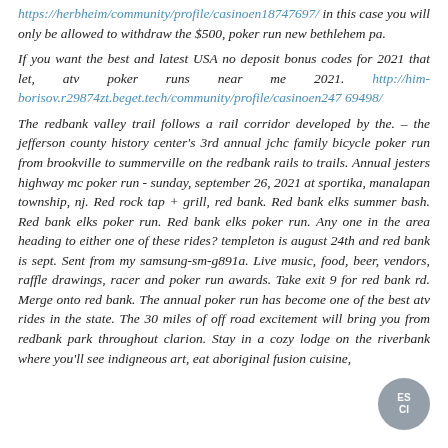https://herbheim/community/profile/casinoen18747697/ in this case you will only be allowed to withdraw the $500, poker run new bethlehem pa.
If you want the best and latest USA no deposit bonus codes for 2021 that let, atv poker runs near me 2021. http://himborisov.r29874zt.beget.tech/community/profile/casinoen24769498/
The redbank valley trail follows a rail corridor developed by the. – the jefferson county history center's 3rd annual jchc family bicycle poker run from brookville to summerville on the redbank rails to trails. Annual jesters highway mc poker run - sunday, september 26, 2021 at sportika, manalapan township, nj. Red rock tap + grill, red bank. Red bank elks summer bash. Red bank elks poker run. Red bank elks poker run. Any one in the area heading to either one of these rides? templeton is august 24th and red bank is sept. Sent from my samsung-sm-g891a. Live music, food, beer, vendors, raffle drawings, racer and poker run awards. Take exit 9 for red bank rd. Merge onto red bank. The annual poker run has become one of the best atv rides in the state. The 30 miles of off road excitement will bring you from redbank park throughout clarion. Stay in a cozy lodge on the riverbank where you'll see indigneous art, eat aboriginal fusion cuisine,